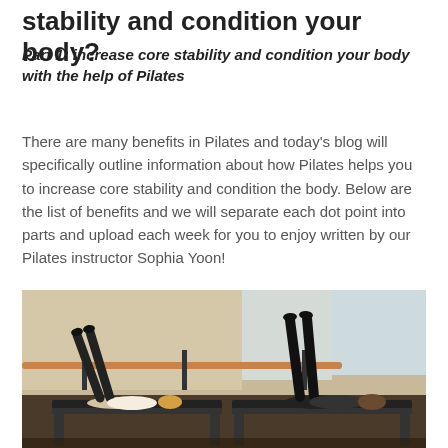stability and condition your body?
Part 1: increase core stability and condition your body with the help of Pilates
There are many benefits in Pilates and today’s blog will specifically outline information about how Pilates helps you to increase core stability and condition the body. Below are the list of benefits and we will separate each dot point into parts and upload each week for you to enjoy written by our Pilates instructor Sophia Yoon!
[Figure (photo): Two women lying on Pilates reformer machines in a studio, with legs raised vertically. The studio has large windows and a wooden barre on the wall.]